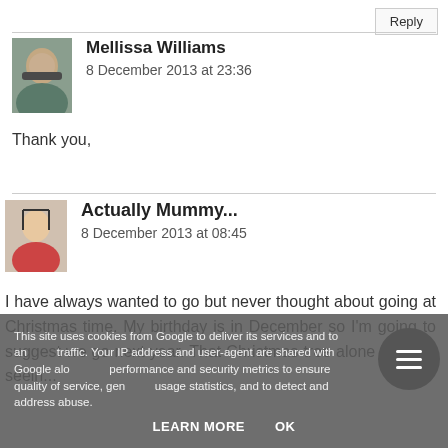Reply
Mellissa Williams
8 December 2013 at 23:36
Thank you,
Actually Mummy...
8 December 2013 at 08:45
I have always wanted to go but never thought about going at Christmas time. My birthday is in December so I'm going to suggest we go next year. That Christmas tree alone is worth seeing
This site uses cookies from Google to deliver its services and to analyze traffic. Your IP address and user-agent are shared with Google along with performance and security metrics to ensure quality of service, generate usage statistics, and to detect and address abuse.
LEARN MORE   OK
Mellissa William...